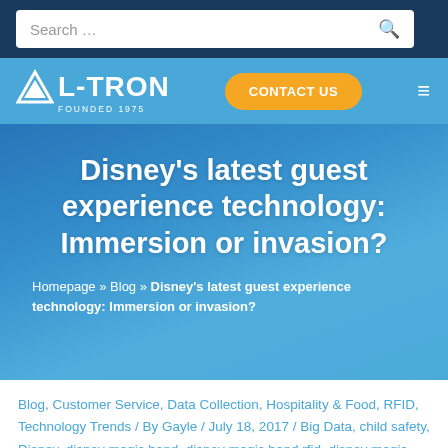Search …
[Figure (logo): L-Tron logo with triangle icon and text 'L-TRON FOUNDED 1975', with orange CONTACT US button and hamburger menu]
Disney's latest guest experience technology: Immersion or invasion?
Homepage » Blog » Disney's latest guest experience technology: Immersion or invasion?
Blog, Customer Service, Data Collection, Hospitality & Food, RFID, Technology Trends / By Gayle / July 18, 2017 / Big Data, child safety, Disney, disney magic band, disney magic band rfid, disney magic bands, Disney World, electronic band, guest experience, L-Tron Magic Band, RFID, rfid tracking with disney, semi-private…